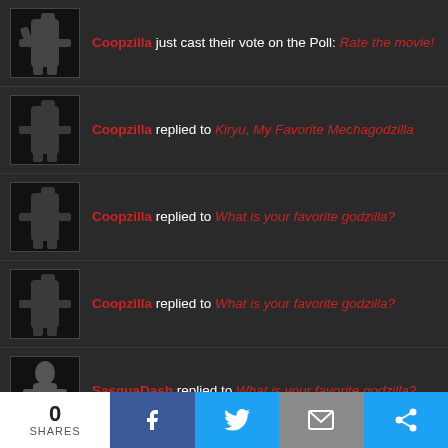Coopzilla just cast their vote on the Poll: Rate the movie!
Coopzilla replied to Kiryu, My Favorite Mechagodzilla
Coopzilla replied to What is your favorite godzilla?
Coopzilla replied to What is your favorite godzilla?
SasquaDash replied to What is your favorite godzilla?
Coopzilla started a new discussion: What is your favorite godzilla? on the Godzilla Movies forum
0 SHARES | Facebook | Twitter | Email | Share